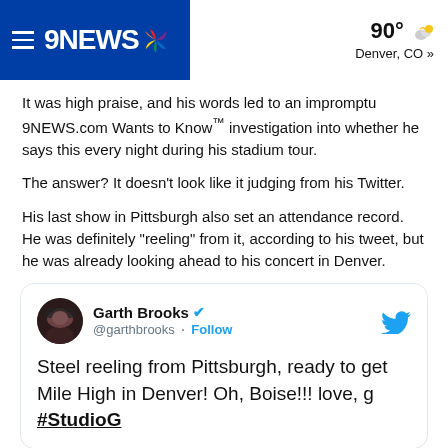9NEWS | 90° Denver, CO »
It was high praise, and his words led to an impromptu 9NEWS.com Wants to Know™ investigation into whether he says this every night during his stadium tour.
The answer? It doesn't look like it judging from his Twitter.
His last show in Pittsburgh also set an attendance record. He was definitely "reeling" from it, according to his tweet, but he was already looking ahead to his concert in Denver.
[Figure (screenshot): Embedded tweet from @garthbrooks: 'Steel reeling from Pittsburgh, ready to get Mile High in Denver! Oh, Boise!!! love, g #StudioG']